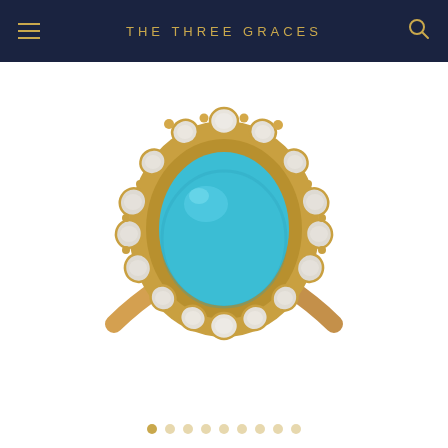THE THREE GRACES
[Figure (photo): Close-up product photo of an antique-style ring featuring a large oval turquoise cabochon center stone set in yellow gold, surrounded by a halo of rose-cut diamonds or white gemstones, on a polished gold band, displayed on white background.]
Navigation dots indicator: 9 dots, first dot active (filled/darker)